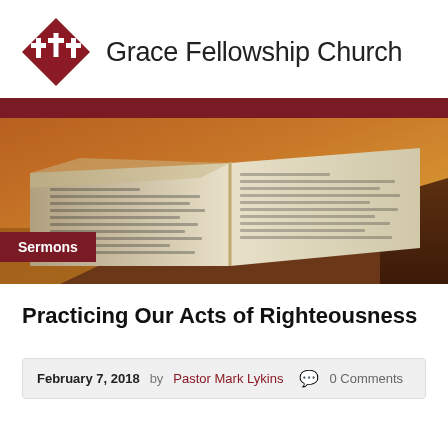[Figure (logo): Grace Fellowship Church logo with red diamond shape containing three white crosses, followed by church name text]
[Figure (photo): Photo of an open Bible on a wooden surface with warm orange-brown tones, with a dark red 'Sermons' label overlaid in the lower left]
Practicing Our Acts of Righteousness
February 7, 2018   by Pastor Mark Lykins   0 Comments